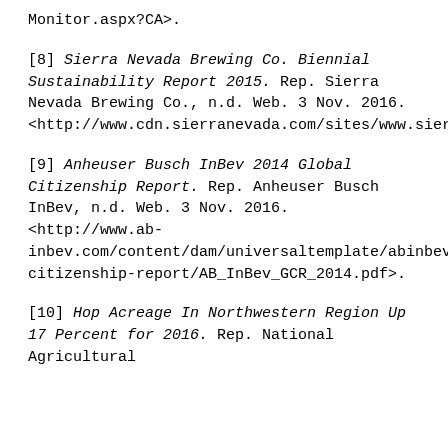Monitor.aspx?CA>.
[8] Sierra Nevada Brewing Co. Biennial Sustainability Report 2015. Rep. Sierra Nevada Brewing Co., n.d. Web. 3 Nov. 2016. <http://www.cdn.sierranevada.com/sites/www.sierranevada.com/files/content/sustainability/reports/SustainabilityReport2015.pdf>.
[9] Anheuser Busch InBev 2014 Global Citizenship Report. Rep. Anheuser Busch InBev, n.d. Web. 3 Nov. 2016. <http://www.ab-inbev.com/content/dam/universaltemplate/abinbev/pdf/sr/global-citizenship-report/AB_InBev_GCR_2014.pdf>.
[10] Hop Acreage In Northwestern Region Up 17 Percent for 2016. Rep. National Agricultural